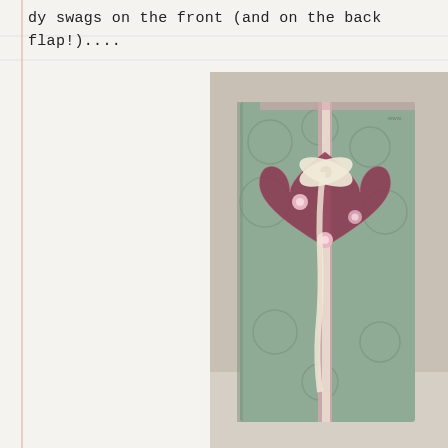dy swags on the front (and on the back flap!)....
[Figure (photo): A handmade greeting card standing upright on a white surface. The card features a sage/mint green embossed floral background, decorated with a large dark pink/burgundy glitter heart shape overlaid with floral patterned paper. A vertical pink satin ribbon runs down the center, topped with cream/ivory lace and a lace bow. Small pink flower embellishments are attached to the heart. A small watermark/logo is visible in the top right corner.]